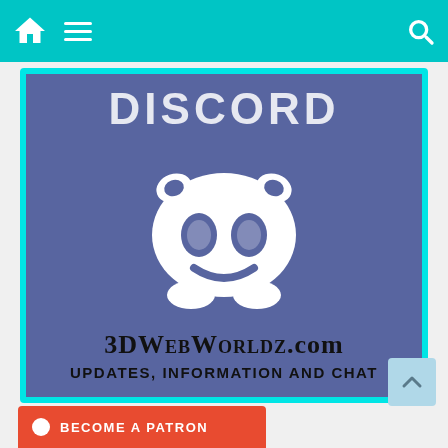Navigation bar with home icon, menu icon, and search icon
[Figure (logo): Discord logo image with white Discord mascot (Clyde) on blue-purple background, with text 'DISCORD' at top, '3DWebWorldz.com' and 'Updates, Information and Chat' at bottom, framed with cyan border]
[Figure (other): Scroll-to-top button (light blue)]
[Figure (other): Patreon banner with orange background and text 'BECOME A PATRON']